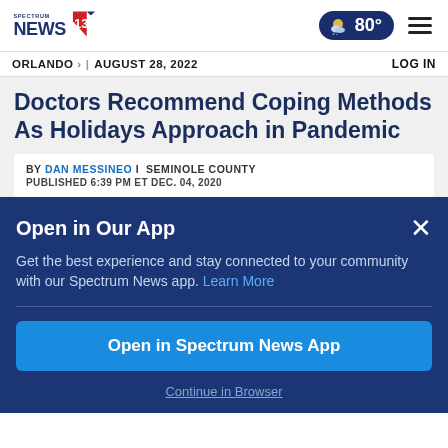Spectrum News 13 | ORLANDO | AUGUST 28, 2022 | 80° | LOG IN
Doctors Recommend Coping Methods As Holidays Approach in Pandemic
BY DAN MESSINEO | SEMINOLE COUNTY
PUBLISHED 6:39 PM ET DEC. 04, 2020
Open in Our App
Get the best experience and stay connected to your community with our Spectrum News app. Learn More
Open in Spectrum News App
Continue in Browser